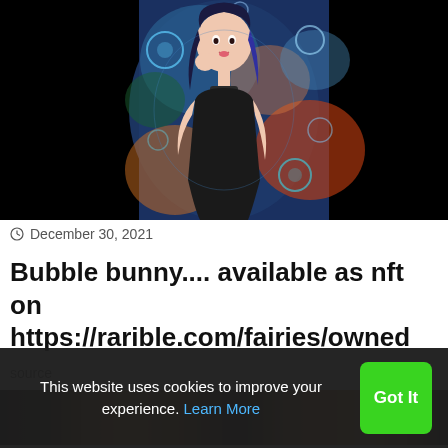[Figure (illustration): Digital illustration of an anime-style female character with dark hair wearing a black outfit, surrounded by colorful bokeh bubbles on a dark background]
December 30, 2021
Bubble bunny.... available as nft on https://rarible.com/fairies/owned
source
[Figure (photo): Partial view of another image, dark with warm tones, mostly obscured]
This website uses cookies to improve your experience. Learn More